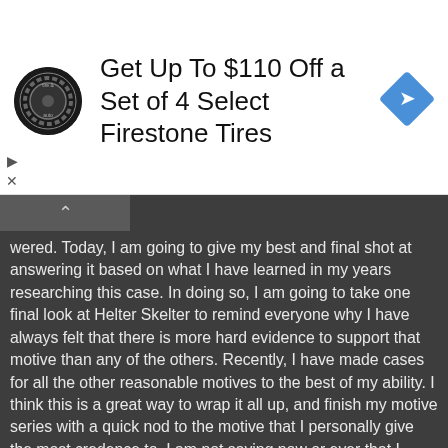[Figure (other): Advertisement banner for Firestone Tires: circular tire & auto logo on left, text 'Get Up To $110 Off a Set of 4 Select Firestone Tires', blue diamond navigation icon on right. Play and X controls on left side.]
wered. Today, I am going to give my best and final shot at answering it based on what I have learned in my years researching this case. In doing so, I am going to take one final look at Helter Skelter to remind everyone why I have always felt that there is more hard evidence to support that motive than any of the others. Recently, I have made cases for all the other reasonable motives to the best of my ability. I think this is a great way to wrap it all up, and finish my motive series with a quick nod to the motive that I personally give the most credence to. I am not saying now or ever that I believe Helter Skelter was the actual/sole motive for the crimes. Just that, to me, if you had to pick just one- it is the choice with the most hard evidence to support it. But before I get into that let me review what I think the ultimate motivation for the actual killers those two nights was NOT...

I do not think the actual killers went those two nights for a